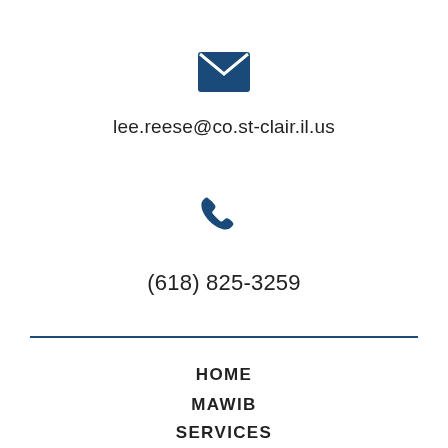[Figure (illustration): Dark blue envelope icon centered on page]
lee.reese@co.st-clair.il.us
[Figure (illustration): Dark blue phone handset icon centered on page]
(618) 825-3259
HOME
MAWIB
SERVICES